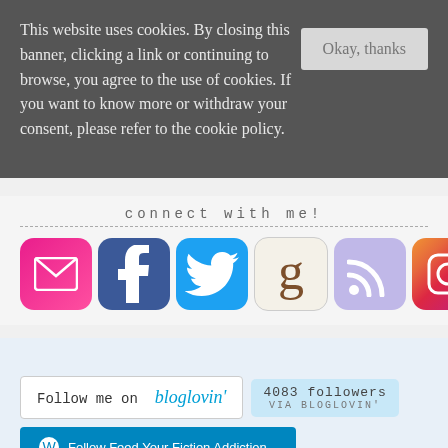This website uses cookies. By closing this banner, clicking a link or continuing to browse, you agree to the use of cookies. If you want to know more or withdraw your consent, please refer to the cookie policy.
connect with me!
[Figure (other): Social media icons: email, Facebook, Twitter, Goodreads, RSS, Instagram]
[Figure (other): Follow me on bloglovin' button with 4083 followers via bloglovin badge]
[Figure (other): Follow Feed Your Fiction Addiction WordPress button]
[Figure (other): Follow on feedly green button]
Subscribe by Email. Just click here!